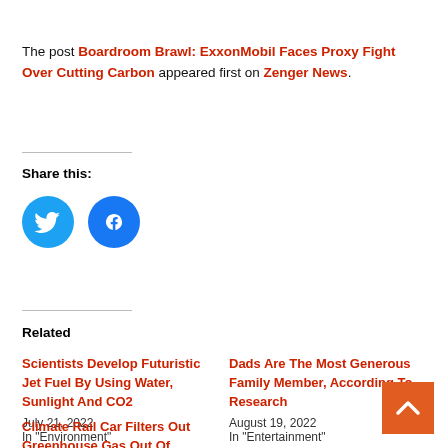The post Boardroom Brawl: ExxonMobil Faces Proxy Fight Over Cutting Carbon appeared first on Zenger News.
Share this:
[Figure (other): Twitter and Facebook share icon buttons (circular blue icons)]
Related
Scientists Develop Futuristic Jet Fuel By Using Water, Sunlight And CO2
July 21, 2022
In "Environment"
Dads Are The Most Generous Family Member, According To Research
August 19, 2022
In "Entertainment"
Climate Rail Car Filters Out Greenhouse Gas Out Of Atmosphere
August 12, 2022